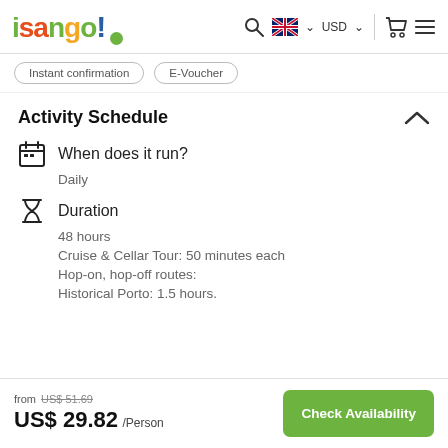isango! [nav: search, GB flag, USD, cart, menu]
Instant confirmation   E-Voucher
Activity Schedule
When does it run?
Daily
Duration
48 hours
Cruise & Cellar Tour: 50 minutes each
Hop-on, hop-off routes:
Historical Porto: 1.5 hours.
from US$ 51.69 (strikethrough) US$ 29.82 /Person   Check Availability